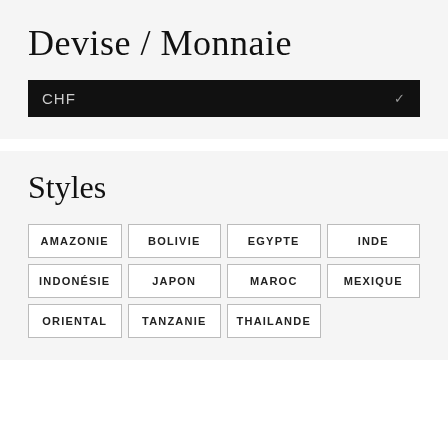Devise / Monnaie
CHF
Styles
AMAZONIE
BOLIVIE
EGYPTE
INDE
INDONÉSIE
JAPON
MAROC
MEXIQUE
ORIENTAL
TANZANIE
THAILANDE